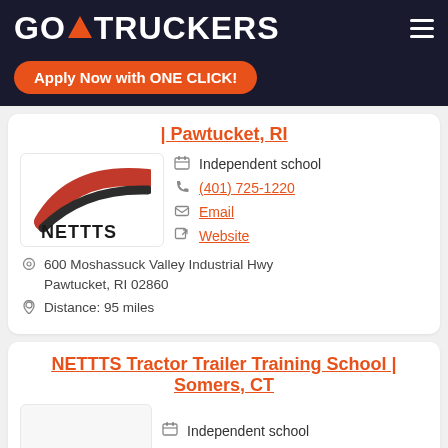GO TRUCKERS
Apply Now with ONE CLICK!
| Pawtucket, RI
[Figure (logo): NETTTS logo with red and black swoosh design]
Independent school
(401) 725-1220
Email
Website
600 Moshassuck Valley Industrial Hwy Pawtucket, RI 02860
Distance: 95 miles
NETTTS Tractor Trailer Training School | Somers, CT
Independent school